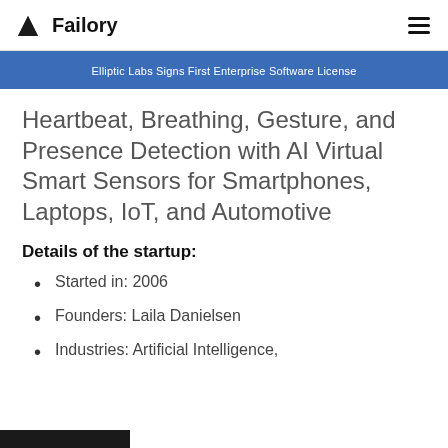Failory
[Figure (screenshot): Blue banner with text: Elliptic Labs Signs First Enterprise Software License]
Heartbeat, Breathing, Gesture, and Presence Detection with AI Virtual Smart Sensors for Smartphones, Laptops, IoT, and Automotive
Details of the startup:
Started in: 2006
Founders: Laila Danielsen
Industries: Artificial Intelligence,